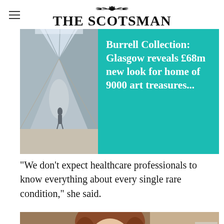THE SCOTSMAN
[Figure (screenshot): Article card with photo of museum interior corridor and teal overlay with headline: Burrell Collection: Glasgow reveals £68m new look for home of 9000 art treasures...]
“We don’t expect healthcare professionals to know everything about every single rare condition,” she said.
[Figure (photo): Photo of a woman with reddish-brown hair seated at a desk with computer equipment, partially visible]